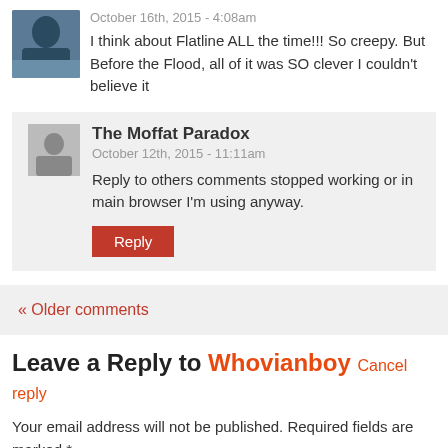October 16th, 2015 - 4:08am
I think about Flatline ALL the time!!! So creepy. But Before the Flood, all of it was SO clever I couldn't believe it
The Moffat Paradox
October 12th, 2015 - 11:11am
Reply to others comments stopped working or in main browser I'm using anyway.
« Older comments
Leave a Reply to Whovianboy Cancel reply
Your email address will not be published. Required fields are marked *
Comment *